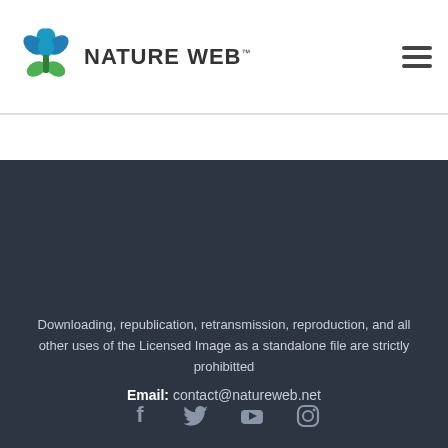[Figure (logo): Nature Web logo with stylized blue/green leaf/tree icon and text NATURE WEB with TM mark]
Downloading, republication, retransmission, reproduction, and all other uses of the Licensed Image as a standalone file are strictly prohibitted
Email: contact@natureweb.net
[Figure (other): Social media icons: Facebook, Twitter, YouTube, Instagram]